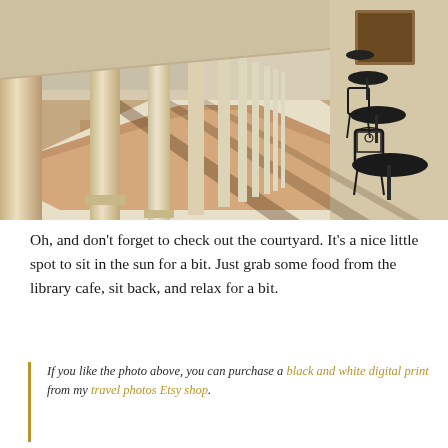[Figure (photo): A sunlit arcade or colonnade with tall classical stone columns on the left, casting long diagonal shadows on a white stone and brick-patterned floor. On the right side, a row of ornate black wrought-iron café tables and chairs lines the wall. The perspective recedes into the distance.]
Oh, and don't forget to check out the courtyard. It's a nice little spot to sit in the sun for a bit. Just grab some food from the library cafe, sit back, and relax for a bit.
If you like the photo above, you can purchase a black and white digital print from my travel photos Etsy shop.